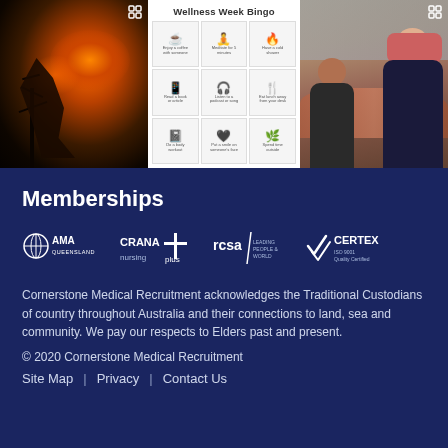[Figure (photo): Three-panel image strip: left panel shows fire/bushfire at night with dark silhouetted trees and orange glow; center panel shows a 'Wellness Week Bingo' card with 9 icons in a 3x3 grid on white background; right panel shows two women smiling with Uluru/Ayers Rock visible in background]
Memberships
[Figure (logo): Four membership logos: AMA Queensland, CRANA plus, rcsa, CERTEX ISO 9001 Quality Certified]
Cornerstone Medical Recruitment acknowledges the Traditional Custodians of country throughout Australia and their connections to land, sea and community. We pay our respects to Elders past and present.
© 2020 Cornerstone Medical Recruitment
Site Map  |  Privacy  |  Contact Us